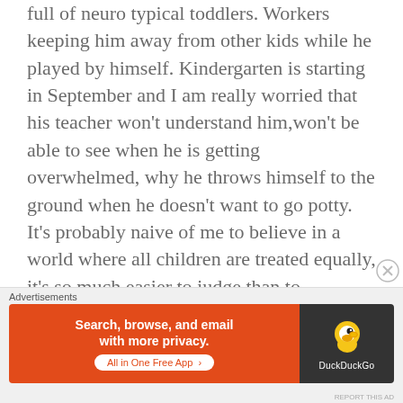full of neuro typical toddlers. Workers keeping him away from other kids while he played by himself. Kindergarten is starting in September and I am really worried that his teacher won't understand him,won't be able to see when he is getting overwhelmed, why he throws himself to the ground when he doesn't want to go potty. It's probably naive of me to believe in a world where all children are treated equally, it's so much easier to judge than to understand, sometimes all
[Figure (other): Advertisement banner: DuckDuckGo ad with orange background on left reading 'Search, browse, and email with more privacy. All in One Free App' and dark background on right with DuckDuckGo duck logo]